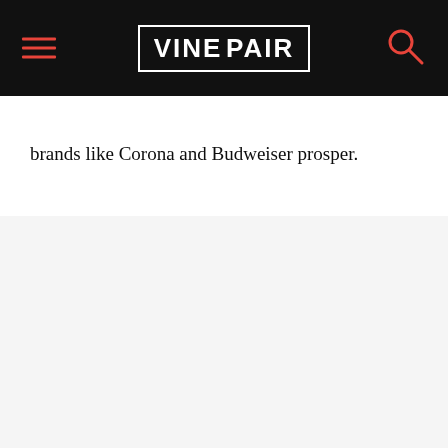VINEPAIR
brands like Corona and Budweiser prosper.